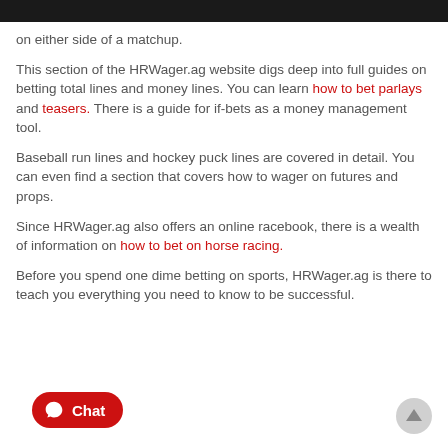on either side of a matchup.
This section of the HRWager.ag website digs deep into full guides on betting total lines and money lines. You can learn how to bet parlays and teasers. There is a guide for if-bets as a money management tool.
Baseball run lines and hockey puck lines are covered in detail. You can even find a section that covers how to wager on futures and props.
Since HRWager.ag also offers an online racebook, there is a wealth of information on how to bet on horse racing.
Before you spend one dime betting on sports, HRWager.ag is there to teach you everything you need to know to be successful.